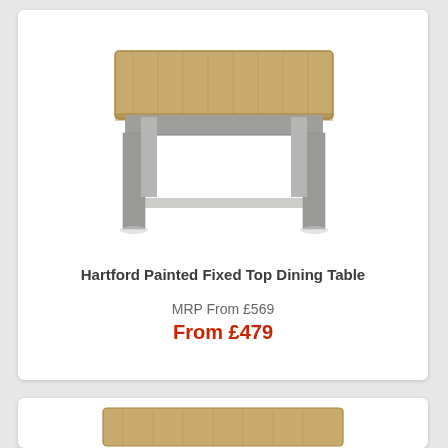[Figure (photo): Hartford Painted Fixed Top Dining Table — a rectangular dining table with a light oak/natural wood top and grey painted legs and apron, photographed on white background]
Hartford Painted Fixed Top Dining Table
MRP From £569
From £479